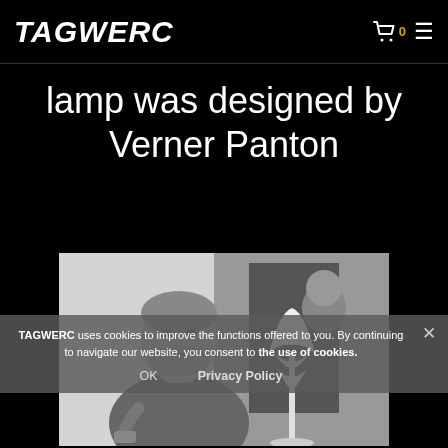TAGWERC
lamp was designed by Verner Panton
[Figure (photo): Black and white photo of Verner Panton smiling, holding an object, standing next to a Panton lamp (flower-shaped white lamp on a stand)]
TAGWERC uses cookies to improve the functions offered to you. By continuing to navigate our website, you consent to the use of cookies.
OK    Privacy Policy